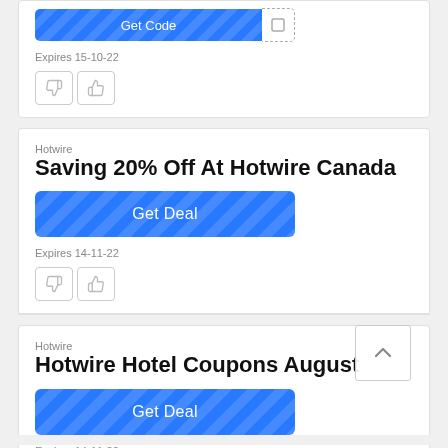[Figure (screenshot): Top partial coupon card with a blue striped Get Code button and dashed border icon, expires 15-10-22, with thumbs down and thumbs up vote buttons]
Expires 15-10-22
Hotwire
Saving 20% Off At Hotwire Canada
[Figure (screenshot): Blue striped Get Deal button]
Expires 14-11-22
Hotwire
Hotwire Hotel Coupons August
[Figure (screenshot): Blue striped Get Deal button]
Expires 14-11-22